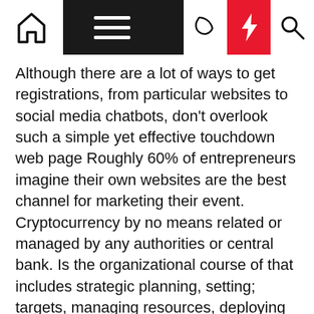[Navigation bar with home, menu, moon, bolt, and search icons]
Although there are a lot of ways to get registrations, from particular websites to social media chatbots, don't overlook such a simple yet effective touchdown web page Roughly 60% of entrepreneurs imagine their own websites are the best channel for marketing their event. Cryptocurrency by no means related or managed by any authorities or central bank. Is the organizational course of that includes strategic planning, setting; targets, managing resources, deploying the human and monetary property wanted to realize objectives, and measuring results.
5. Or strive a financial savings app like Digit , which makes small, automatic transfers from your checking account into savings. So, clearly, being able to attain out to scientists on the leading edge